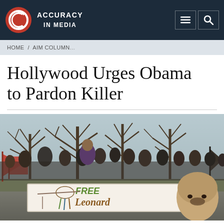ACCURACY in MEDIA
HOME / AIM COLUMN...
Hollywood Urges Obama to Pardon Killer
[Figure (photo): Outdoor protest march with people carrying a large white banner reading 'FREE Leonard', with bare winter trees in the background and red flags visible on the left.]